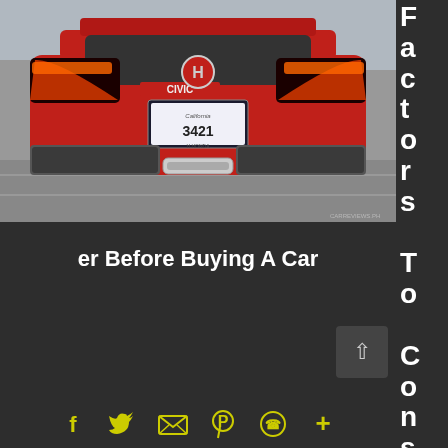[Figure (photo): Rear view of a red Honda Civic Si, showing the Honda logo, CIVIC badge, California license plate 3421, glowing LED taillights, and dual exhaust. Watermark reads CARREVIEWS.PH. Car is in a parking lot.]
Factors To Consider Before Buying A Car
[Figure (infographic): Social media sharing bar with icons for Facebook, Twitter, Email, Pinterest, WhatsApp, and a plus/more button, all in yellow/lime color on dark background. Also a scroll-to-top arrow button.]